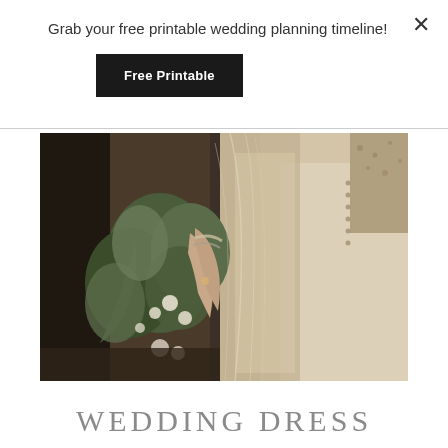Grab your free printable wedding planning timeline!
Free Printable
[Figure (photo): Close-up photograph of a bride holding a greenery bouquet with white flowers, wearing a white lace wedding dress and sheer veil, with a ring visible on one hand and a bracelet.]
WEDDING DRESS